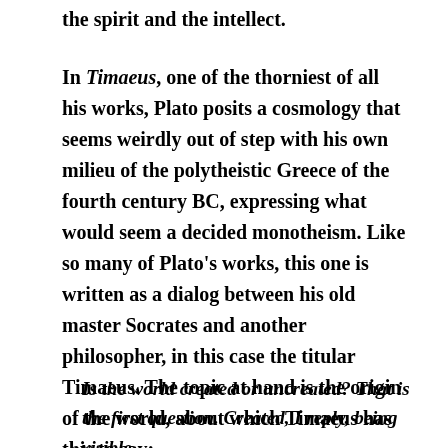the spirit and the intellect.
In Timaeus, one of the thorniest of all his works, Plato posits a cosmology that seems weirdly out of step with his own milieu of the polytheistic Greece of the fourth century BC, expressing what would seem a decided monotheism. Like so many of Plato's works, this one is written as a dialog between his old master Socrates and another philosopher, in this case the titular Timaeus. The topic at hand is the origin of the world, about which Timaeus has this to say:
Is the world created or uncreated? That is the first question. Created, I reply, being visible